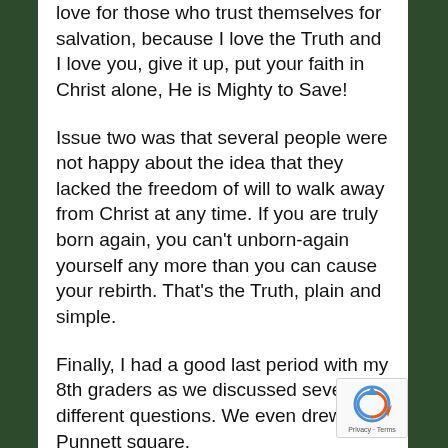love for those who trust themselves for salvation, because I love the Truth and I love you, give it up, put your faith in Christ alone, He is Mighty to Save!
Issue two was that several people were not happy about the idea that they lacked the freedom of will to walk away from Christ at any time. If you are truly born again, you can't unborn-again yourself any more than you can cause your rebirth. That's the Truth, plain and simple.
Finally, I had a good last period with my 8th graders as we discussed several different questions. We even drew a Punnett square.